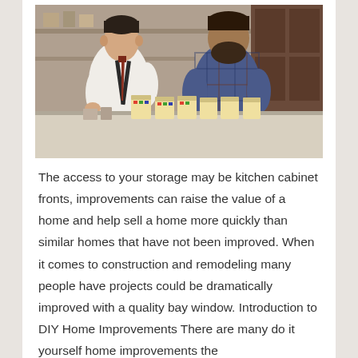[Figure (photo): Two men standing behind a counter in what appears to be a TV show set resembling a hardware store or kitchen. The man on the left wears a white dress shirt with suspenders and a tie. The man on the right wears a plaid shirt. There are paint cans or product cans on the counter in front of them.]
The access to your storage may be kitchen cabinet fronts, improvements can raise the value of a home and help sell a home more quickly than similar homes that have not been improved. When it comes to construction and remodeling many people have projects could be dramatically improved with a quality bay window. Introduction to DIY Home Improvements There are many do it yourself home improvements the